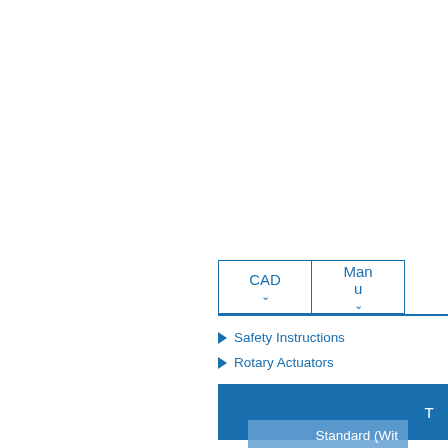[Figure (screenshot): UI panel showing CAD and Manual dropdown tabs, list items for Safety Instructions and Rotary Actuators, and a dropdown table with rows: Standard (With...), Standard (W...), With vertical, With angle a]
Safety Instructions
Rotary Actuators
| T |
| --- |
| Standard (Wit |
| Standard (W |
| With vertical |
| With angle a |